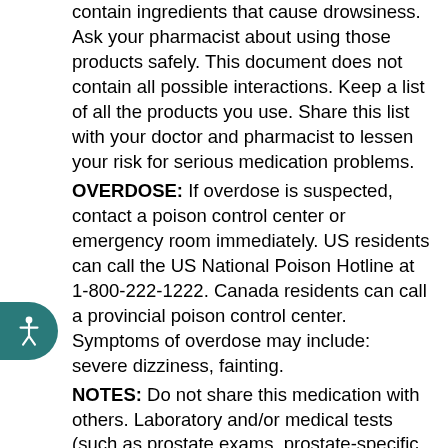contain ingredients that cause drowsiness. Ask your pharmacist about using those products safely. This document does not contain all possible interactions. Keep a list of all the products you use. Share this list with your doctor and pharmacist to lessen your risk for serious medication problems.
OVERDOSE: If overdose is suspected, contact a poison control center or emergency room immediately. US residents can call the US National Poison Hotline at 1-800-222-1222. Canada residents can call a provincial poison control center. Symptoms of overdose may include: severe dizziness, fainting.
NOTES: Do not share this medication with others. Laboratory and/or medical tests (such as prostate exams, prostate-specific antigen-PSA) should be performed periodically to monitor your progress or check for side effects. Consult your doctor for more details.
MISSED DOSE: If you miss a dose, take it as soon as you remember. If it is near the time of the next dose, skip the missed dose and resume your usual dosing schedule. Do not double the dose to catch up.